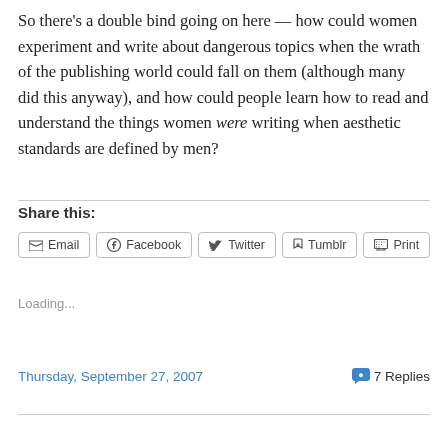So there's a double bind going on here — how could women experiment and write about dangerous topics when the wrath of the publishing world could fall on them (although many did this anyway), and how could people learn how to read and understand the things women were writing when aesthetic standards are defined by men?
Share this:
Email  Facebook  Twitter  Tumblr  Print
Loading...
Thursday, September 27, 2007    7 Replies